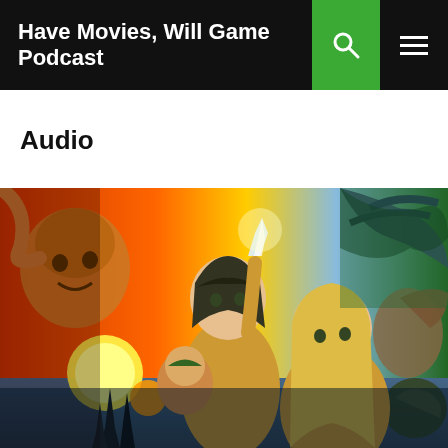Have Movies, Will Game Podcast
Audio
[Figure (illustration): Fantasy movie artwork showing two elf-like children, one holding a glowing crystal shard, surrounded by various fantastical creatures including mushroom-headed beings and dark monsters, with a sunset landscape featuring twin suns and dark spires in the background. The art style is detailed fantasy illustration reminiscent of The Dark Crystal.]